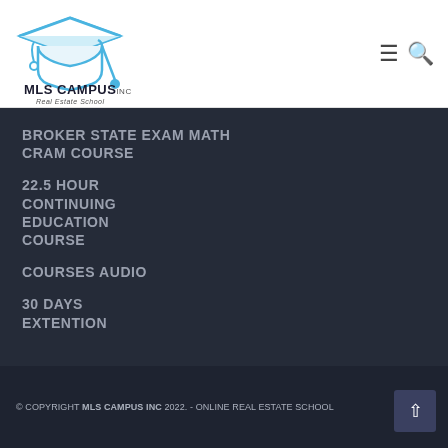[Figure (logo): MLS Campus Inc. Real Estate School logo with graduation cap in blue and text]
BROKER STATE EXAM MATH CRAM COURSE
22.5 HOUR CONTINUING EDUCATION COURSE
COURSES AUDIO
30 DAYS EXTENTION
© COPYRIGHT MLS CAMPUS INC 2022. - ONLINE REAL ESTATE SCHOOL